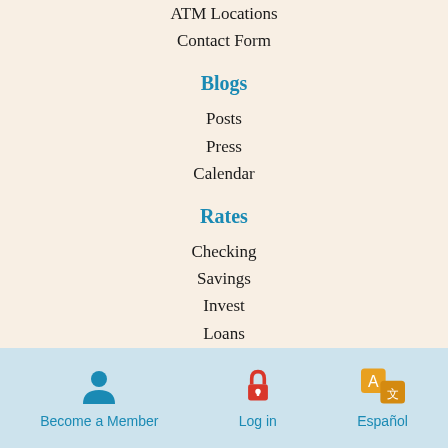ATM Locations
Contact Form
Blogs
Posts
Press
Calendar
Rates
Checking
Savings
Invest
Loans
Online Banking Login
Careers
Become a Member
Become a Member  Log in  Español